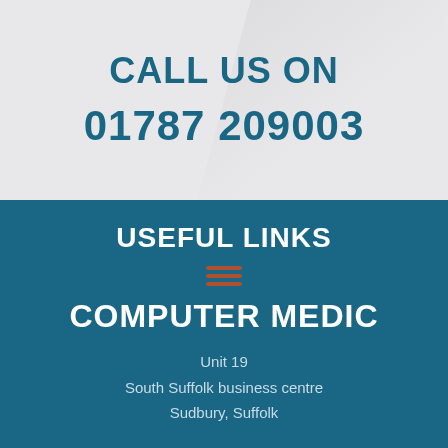CALL US ON
01787 209003
USEFUL LINKS
COMPUTER MEDIC
Unit 19
South Suffolk business centre
Sudbury, Suffolk